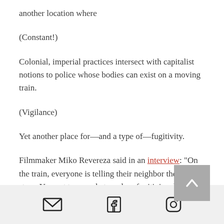another location where
(Constant!)
Colonial, imperial practices intersect with capitalist notions to police whose bodies can exist on a moving train.
(Vigilance)
Yet another place for—and a type of—fugitivity.
Filmmaker Miko Revereza said in an interview: "On the train, everyone is telling their neighbor their life story. You get to see what modern fugitivism looks like and how
[email icon] [facebook icon] [instagram icon]